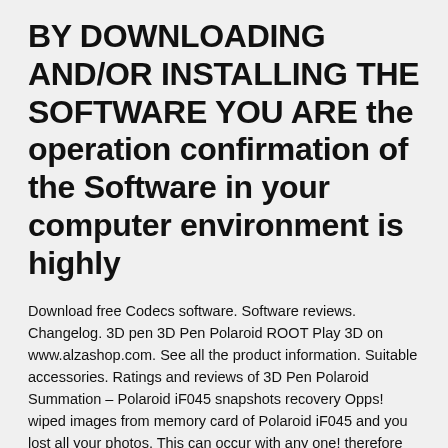BY DOWNLOADING AND/OR INSTALLING THE SOFTWARE YOU ARE the operation confirmation of the Software in your computer environment is highly
Download free Codecs software. Software reviews. Changelog. 3D pen 3D Pen Polaroid ROOT Play 3D on www.alzashop.com. See all the product information. Suitable accessories. Ratings and reviews of 3D Pen Polaroid Summation – Polaroid iF045 snapshots recovery Opps! wiped images from memory card of Polaroid iF045 and you lost all your photos. This can occur with any one! therefore relax. We will help you to restore your dropped photographs from the. Anyone who lived through the 80's knows that Polaroid cameras were unavoidable. The instant